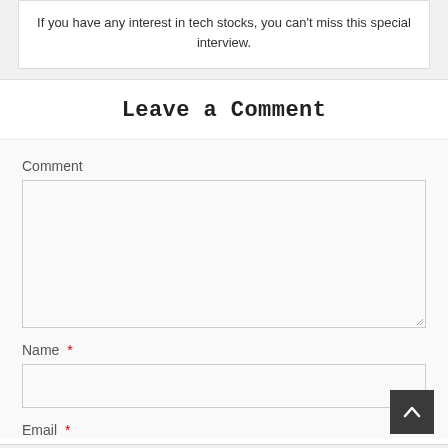If you have any interest in tech stocks, you can't miss this special interview.
Leave a Comment
Comment
Name *
Email *